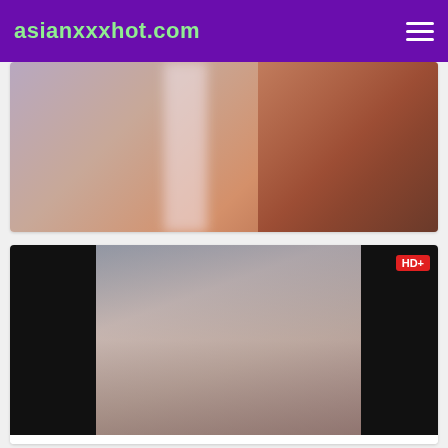asianxxxhot.com
[Figure (photo): Video thumbnail showing blurred scene with warm reddish-orange background]
[Figure (photo): Video thumbnail showing a person in a car interior, labeled HD+]
The Asian Profess